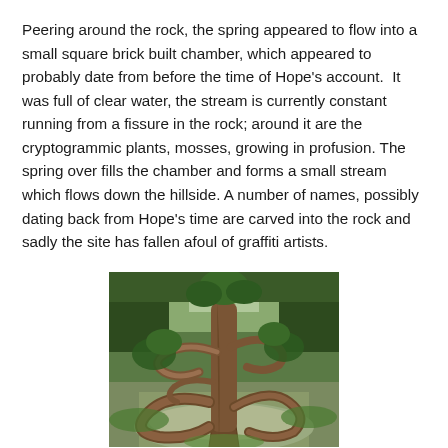Peering around the rock, the spring appeared to flow into a small square brick built chamber, which appeared to probably date from before the time of Hope's account.  It was full of clear water, the stream is currently constant running from a fissure in the rock; around it are the cryptogrammic plants, mosses, growing in profusion. The spring over fills the chamber and forms a small stream which flows down the hillside. A number of names, possibly dating back from Hope's time are carved into the rock and sadly the site has fallen afoul of graffiti artists.
[Figure (photo): A gnarled old tree with twisted, curved roots and branches growing in a forested hillside setting. The roots form striking curved shapes against rocky ground, with green foliage visible in the background.]